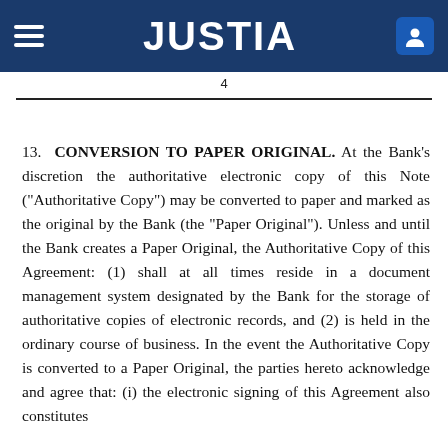JUSTIA
4
13. CONVERSION TO PAPER ORIGINAL. At the Bank’s discretion the authoritative electronic copy of this Note (“Authoritative Copy”) may be converted to paper and marked as the original by the Bank (the “Paper Original”). Unless and until the Bank creates a Paper Original, the Authoritative Copy of this Agreement: (1) shall at all times reside in a document management system designated by the Bank for the storage of authoritative copies of electronic records, and (2) is held in the ordinary course of business. In the event the Authoritative Copy is converted to a Paper Original, the parties hereto acknowledge and agree that: (i) the electronic signing of this Agreement also constitutes